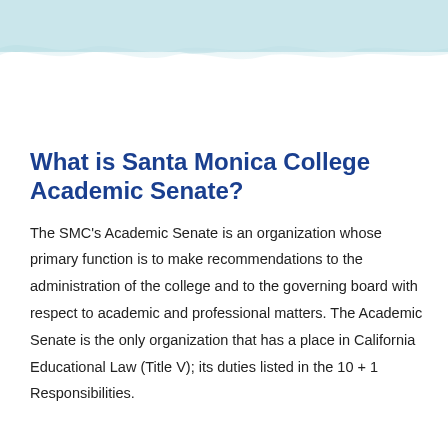[Figure (illustration): Light teal/cyan decorative wave band across the top of the page, suggesting a watercolor or brushstroke style header.]
What is Santa Monica College Academic Senate?
The SMC's Academic Senate is an organization whose primary function is to make recommendations to the administration of the college and to the governing board with respect to academic and professional matters. The Academic Senate is the only organization that has a place in California Educational Law (Title V); its duties listed in the 10 + 1 Responsibilities.